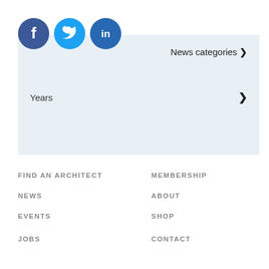[Figure (logo): Three social media icons: Facebook (dark blue circle with f), Twitter (cyan circle with bird), LinkedIn (dark blue circle with in)]
News categories >
Years >
FIND AN ARCHITECT
MEMBERSHIP
NEWS
ABOUT
EVENTS
SHOP
JOBS
CONTACT